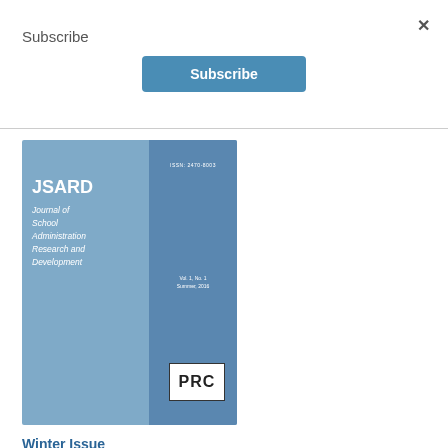Subscribe
×
Subscribe
[Figure (illustration): Cover of JSARD - Journal of School Administration Research and Development, showing ISSN number, Vol. 5 No. 1 Summer 2016, and PRC logo on a blue cover]
Winter Issue